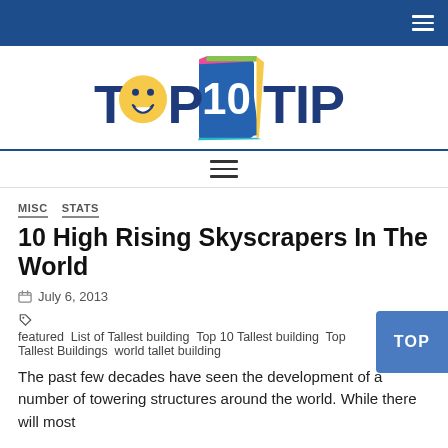Navigation bar with hamburger menu
[Figure (logo): Top 10 Tip logo with colorful speech bubble and emoji face]
Horizontal menu bar
MISC  STATS
10 High Rising Skyscrapers In The World
July 6, 2013
featured  List of Tallest building  Top 10 Tallest building  Top Tallest Buildings  world tallet building
The past few decades have seen the development of a number of towering structures around the world. While there will most